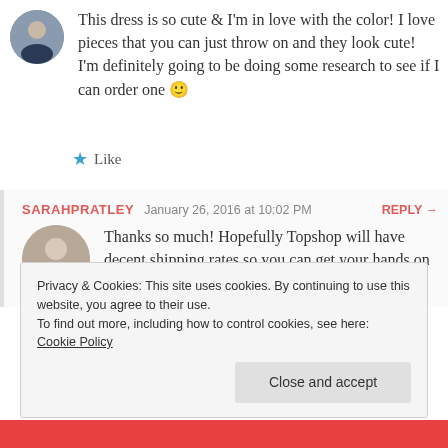This dress is so cute & I'm in love with the color! I love pieces that you can just throw on and they look cute! I'm definitely going to be doing some research to see if I can order one 🙂
★ Like
SARAHPRATLEY  January 26, 2016 at 10:02 PM  REPLY →
Thanks so much! Hopefully Topshop will have decent shipping rates so you can get your hands on one 🙂 x
Privacy & Cookies: This site uses cookies. By continuing to use this website, you agree to their use. To find out more, including how to control cookies, see here: Cookie Policy
Close and accept